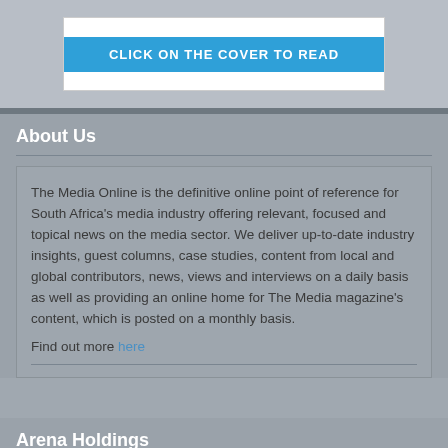[Figure (other): Blue button with text 'CLICK ON THE COVER TO READ' inside a white box]
About Us
The Media Online is the definitive online point of reference for South Africa's media industry offering relevant, focused and topical news on the media sector. We deliver up-to-date industry insights, guest columns, case studies, content from local and global contributors, news, views and interviews on a daily basis as well as providing an online home for The Media magazine's content, which is posted on a monthly basis.
Find out more here
Arena Holdings